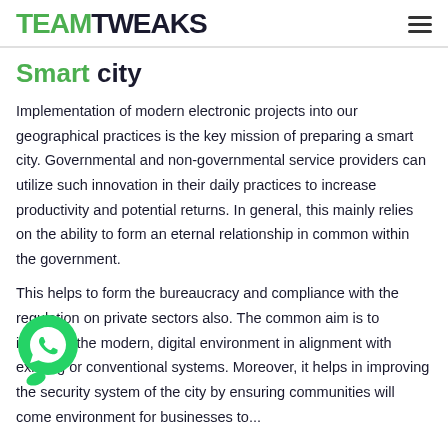TEAMTWEAKS
Smart city
Implementation of modern electronic projects into our geographical practices is the key mission of preparing a smart city. Governmental and non-governmental service providers can utilize such innovation in their daily practices to increase productivity and potential returns. In general, this mainly relies on the ability to form an eternal relationship in common within the government.
This helps to form the bureaucracy and compliance with the regulation on private sectors also. The common aim is to integrate the modern, digital environment in alignment with existing or conventional systems. Moreover, it helps in improving the security system of the city by ensuring communities will come environment for businesses to...
[Figure (illustration): WhatsApp floating chat button — green circle with WhatsApp phone icon]